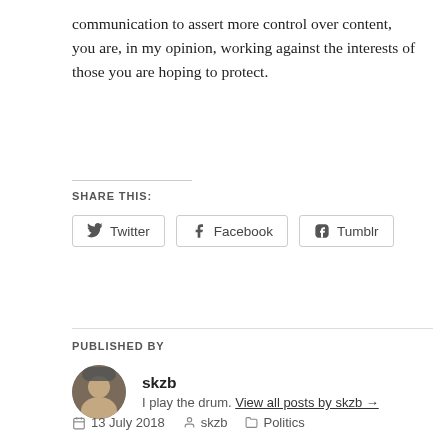communication to assert more control over content, you are, in my opinion, working against the interests of those you are hoping to protect.
SHARE THIS:
[Figure (other): Share buttons for Twitter, Facebook, and Tumblr]
PUBLISHED BY
skzb
I play the drum. View all posts by skzb →
13 July 2018   skzb   Politics